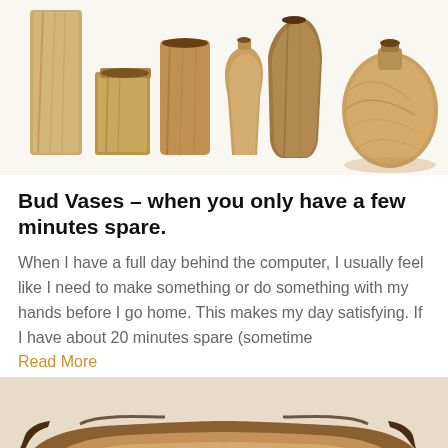[Figure (photo): Collection of wooden bud vases in various shapes and sizes on a white background, showing natural wood grain patterns in olive and walnut tones.]
Bud Vases – when you only have a few minutes spare.
When I have a full day behind the computer, I usually feel like I need to make something or do something with my hands before I go home. This makes my day satisfying. If I have about 20 minutes spare (sometime
Read More
[Figure (photo): A wooden bowl with a natural live edge, showing rich wood grain and dark bark edge, hollow vessel shape resembling a boat.]